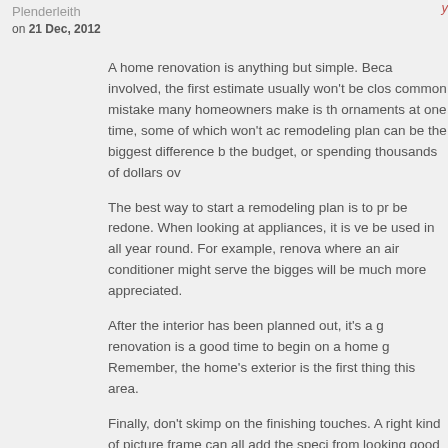Plenderleith
on 21 Dec, 2012
A home renovation is anything but simple. Because of all the factors involved, the first estimate usually won't be close to the final cost. A common mistake many homeowners make is that they want to add too many ornaments at one time, some of which won't add much value. Having a remodeling plan can be the biggest difference between staying within the budget, or spending thousands of dollars over it.
The best way to start a remodeling plan is to prioritize the areas to be redone. When looking at appliances, it is very important that they will be used in all year round. For example, renovating in a climate where an air conditioner might serve the biggest need, a heating system will be much more appreciated.
After the interior has been planned out, it's a good idea. The renovation is a good time to begin on a home garden or landscaping. Remember, the home's exterior is the first thing people notice so focus on this area.
Finally, don't skimp on the finishing touches. A right kind of picture frame can all add the special touch that takes a room from looking good to looking great. Of course, it must remain within budget as even the best looking home won't b